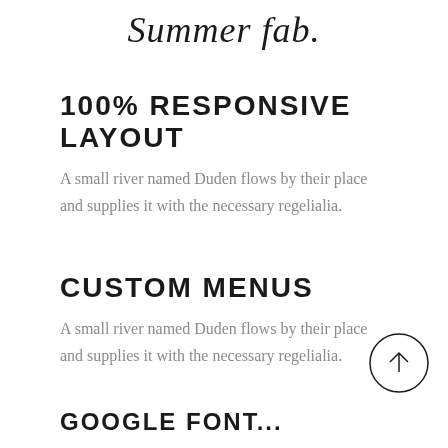Summer fab.
100% RESPONSIVE LAYOUT
A small river named Duden flows by their place and supplies it with the necessary regelialia.
CUSTOM MENUS
A small river named Duden flows by their place and supplies it with the necessary regelialia.
[Figure (other): Back-to-top arrow button: circle with upward arrow inside]
GOOGLE FONT